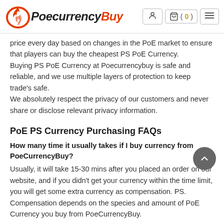PoecurrencyBuy — navigation header with logo, user icon, cart (0), and menu
price every day based on changes in the PoE market to ensure that players can buy the cheapest PS PoE Currency. Buying PS PoE Currency at Poecurrencybuy is safe and reliable, and we use multiple layers of protection to keep trade's safe. We absolutely respect the privacy of our customers and never share or disclose relevant privacy information.
PoE PS Currency Purchasing FAQs
How many time it usually takes if I buy currency from PoeCurrencyBuy?
Usually, it will take 15-30 mins after you placed an order on our website, and if you didn't get your currency within the time limit, you will get some extra currency as compensation. PS. Compensation depends on the species and amount of PoE Currency you buy from PoeCurrencyBuy.